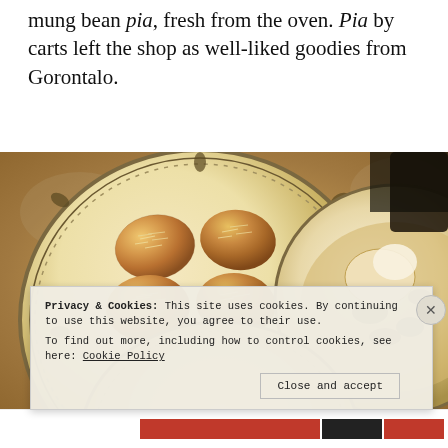mung bean pia, fresh from the oven. Pia by carts left the shop as well-liked goodies from Gorontalo.
[Figure (photo): Photo of golden-brown baked pastries (pia) topped with shredded coconut, arranged on a decorative plate with vine and floral motifs, on a granite countertop. A second partially visible plate on the right contains what appears to be a baked dish with dark toppings. A third plate is partially visible at the bottom.]
Privacy & Cookies: This site uses cookies. By continuing to use this website, you agree to their use.
To find out more, including how to control cookies, see here: Cookie Policy
Close and accept